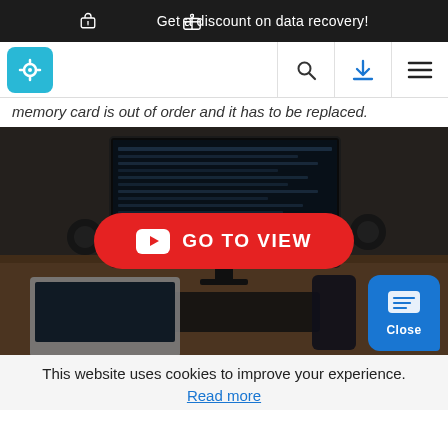🎁 Get a discount on data recovery!
[Figure (screenshot): Navigation bar with teal gear logo icon, search icon, download icon, and hamburger menu icon]
memory card is out of order and it has to be replaced.
[Figure (photo): Overhead view of a desktop workspace with monitor, laptop, keyboard, speakers, and phone. A red button overlay reads 'GO TO VIEW' with YouTube play icon.]
This website uses cookies to improve your experience.
Read more